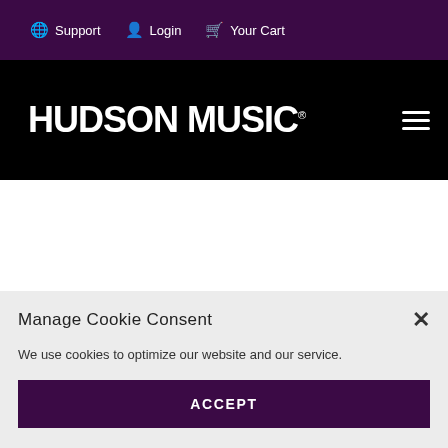⊕ Support  👤 Login  🛒 Your Cart
[Figure (logo): Hudson Music logo — white bold text on black background, with hamburger menu icon on right]
Manage Cookie Consent
We use cookies to optimize our website and our service.
ACCEPT